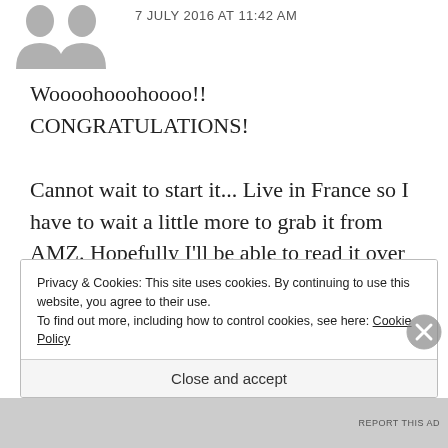[Figure (illustration): Two gray avatar silhouette icons side by side]
7 JULY 2016 AT 11:42 AM
Woooohooohoooo!! CONGRATULATIONS!

Cannot wait to start it... Live in France so I have to wait a little more to grab it from AMZ. Hopefully I'll be able to read it over rhe weekend!
Privacy & Cookies: This site uses cookies. By continuing to use this website, you agree to their use.
To find out more, including how to control cookies, see here: Cookie Policy
Close and accept